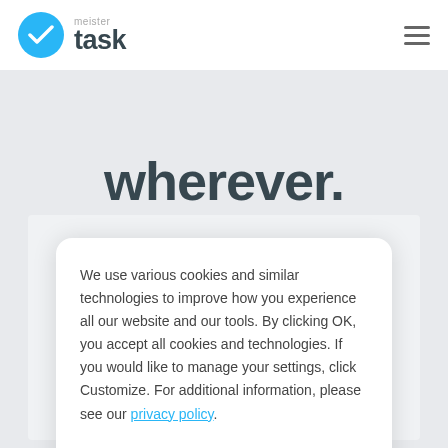[Figure (logo): MeisterTask logo: blue circle with white checkmark, followed by 'meister' in small gray text above 'task' in large dark bold text]
wherever.
We use various cookies and similar technologies to improve how you experience all our website and our tools. By clicking OK, you accept all cookies and technologies. If you would like to manage your settings, click Customize. For additional information, please see our privacy policy.
Customize
OK